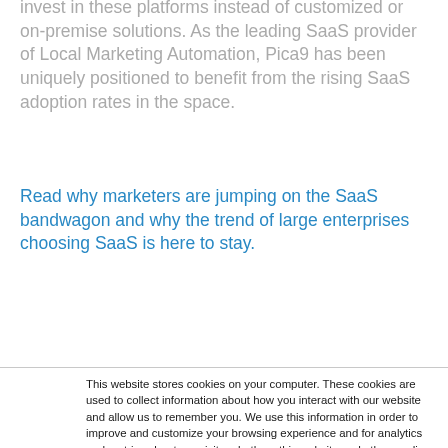invest in these platforms instead of customized or on-premise solutions. As the leading SaaS provider of Local Marketing Automation, Pica9 has been uniquely positioned to benefit from the rising SaaS adoption rates in the space.
Read why marketers are jumping on the SaaS bandwagon and why the trend of large enterprises choosing SaaS is here to stay.
This website stores cookies on your computer. These cookies are used to collect information about how you interact with our website and allow us to remember you. We use this information in order to improve and customize your browsing experience and for analytics and metrics about our visitors both on this website and other media. To find out more about the cookies we use, see our Privacy Policy.